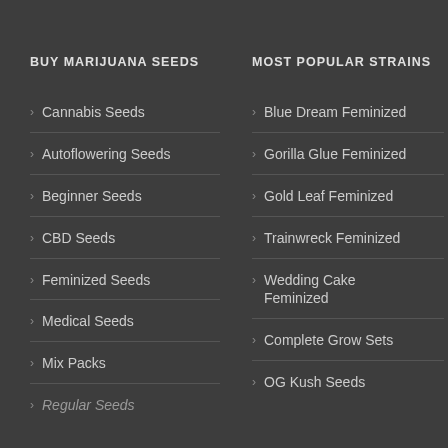BUY MARIJUANA SEEDS
Cannabis Seeds
Autoflowering Seeds
Beginner Seeds
CBD Seeds
Feminized Seeds
Medical Seeds
Mix Packs
Regular Seeds
MOST POPULAR STRAINS
Blue Dream Feminized
Gorilla Glue Feminized
Gold Leaf Feminized
Trainwreck Feminized
Wedding Cake Feminized
Complete Grow Sets
OG Kush Seeds